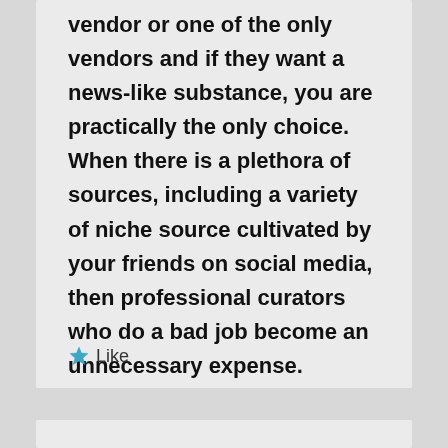vendor or one of the only vendors and if they want a news-like substance, you are practically the only choice. When there is a plethora of sources, including a variety of niche source cultivated by your friends on social media, then professional curators who do a bad job become an unnecessary expense.
Like